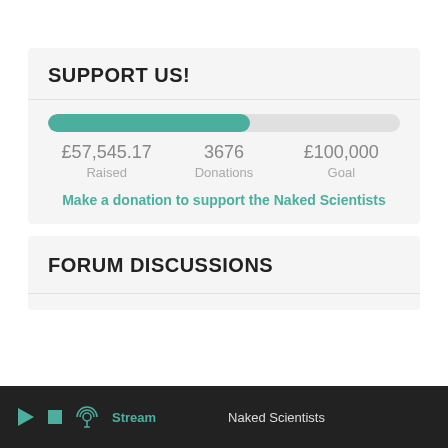SUPPORT US!
[Figure (infographic): Progress bar showing fundraising progress: 57.5% filled in teal/green color on a light grey background bar]
£57,545.17 Raised   3676 Donations   £100,000 Goal
Make a donation to support the Naked Scientists
FORUM DISCUSSIONS
▶  ■  Stream   Naked Scientists